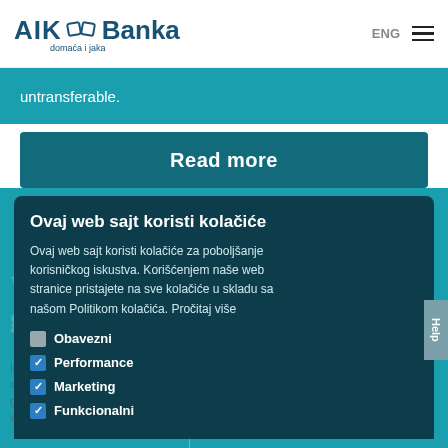[Figure (logo): AIK Banka logo with diamond/infinity icon and tagline 'domaća i jaka']
ENG
untransferable.
Read more
Ovaj web sajt koristi kolačiće
Ovaj web sajt koristi kolačiće za poboljšanje korisničkog iskustva. Korišćenjem naše web stranice pristajete na sve kolačiće u skladu sa našom Politikom kolačića. Pročitaj više
Obavezni
Performance
Marketing
Funkcionalni
Prihvatam
Više informacija